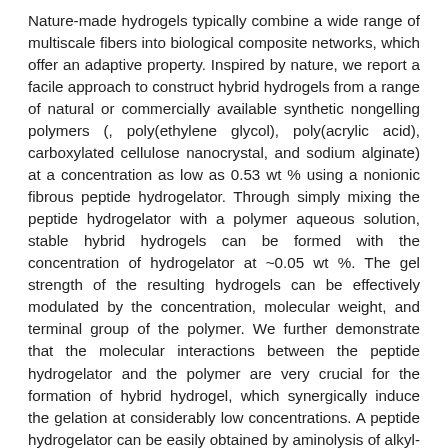Nature-made hydrogels typically combine a wide range of multiscale fibers into biological composite networks, which offer an adaptive property. Inspired by nature, we report a facile approach to construct hybrid hydrogels from a range of natural or commercially available synthetic nongelling polymers (, poly(ethylene glycol), poly(acrylic acid), carboxylated cellulose nanocrystal, and sodium alginate) at a concentration as low as 0.53 wt % using a nonionic fibrous peptide hydrogelator. Through simply mixing the peptide hydrogelator with a polymer aqueous solution, stable hybrid hydrogels can be formed with the concentration of hydrogelator at ~0.05 wt %. The gel strength of the resulting hydrogels can be effectively modulated by the concentration, molecular weight, and terminal group of the polymer. We further demonstrate that the molecular interactions between the peptide hydrogelator and the polymer are very crucial for the formation of hybrid hydrogel, which synergically induce the gelation at considerably low concentrations. A peptide hydrogelator can be easily obtained by aminolysis of alkyl-oilgo(γ-benzyl-l-glutamate) samples. Live/Dead assays indicate low cytotoxicity of the hybrid hydrogel toward HeLa cells. Combining the low-cost, scalable synthesis, and biocompatibility, the prepared peptide hydrogelator presents a potential candidate to expand the scope of polymer